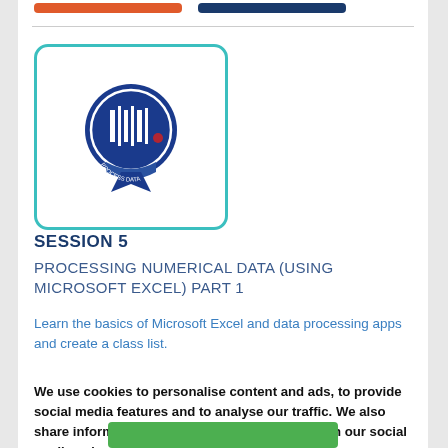[Figure (logo): Blue ribbon/badge icon with barcode-like white lines in center circle, 'PROCESS DATA' text on ribbon, inside a teal rounded-rectangle border]
SESSION 5
PROCESSING NUMERICAL DATA (USING MICROSOFT EXCEL) PART 1
Learn the basics of Microsoft Excel and data processing apps and create a class list.
R125
We use cookies to personalise content and ads, to provide social media features and to analyse our traffic. We also share information about your use of our site with our social media, advertising and analytics partners.